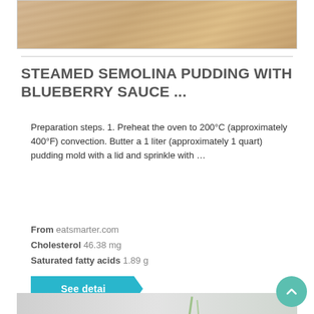[Figure (photo): Top portion of a food/recipe image showing a wooden surface texture in warm tan/beige tones]
STEAMED SEMOLINA PUDDING WITH BLUEBERRY SAUCE ...
Preparation steps. 1. Preheat the oven to 200°C (approximately 400°F) convection. Butter a 1 liter (approximately 1 quart) pudding mold with a lid and sprinkle with …
From eatsmarter.com
Cholesterol 46.38 mg
Saturated fatty acids 1.89 g
See detai
[Figure (photo): Bottom portion of a recipe result page showing a blurred background with handwriting or notes and green plant stems, indicating another recipe card below]